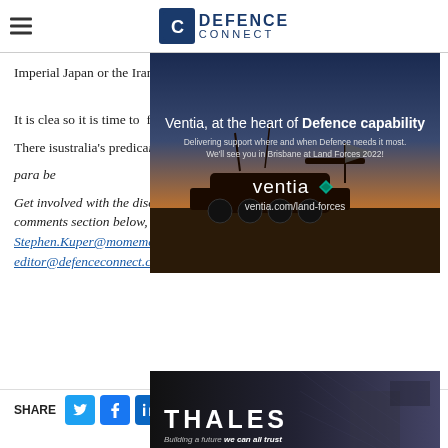DEFENCE CONNECT
Imperial Japan or the Iranian Revolution arrive on our doorst[ep]
It is clea[r]... so it is time to [...]fully prepare[d]
[Figure (illustration): Ventia advertisement: 'Ventia, at the heart of Defence capability. Delivering support where and when Defence needs it most. We'll see you in Brisbane at Land Forces 2022! ventia.com/land-forces' overlaid on a dark military scene.]
There is [...]tralia's predica[ment...] ncem, para be[llum]
Get involved with the discussion and let us know your thoughts in the comments section below, or get in touch at Stephen.Kuper@momementummedia.com.au or editor@defenceconnect.com.au
[Figure (illustration): Thales advertisement: 'THALES - Building a future we can all trust' overlaid on a dark image of a soldier.]
SHARE